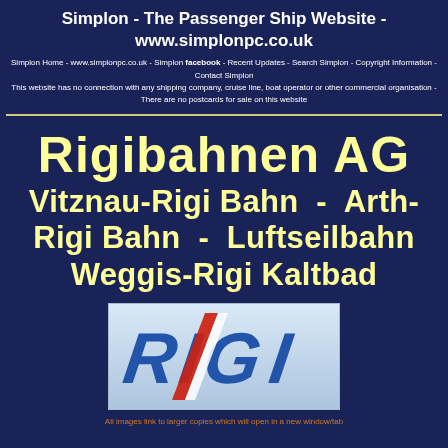Simplon - The Passenger Ship Website - www.simplonpc.co.uk
Simplon Home - www.simplonpc.co.uk - Simplon facebook - Recent Updates - Search Simplon - Copyright Information - Contact Simplon
This website has no connection with any shipping company, cruise line, boat operator or other commercial organisation - There are no postcards for sale on this website
Rigibahnen AG
Vitznau-Rigi Bahn  -  Arth-Rigi Bahn  -  Luftseilbahn Weggis-Rigi Kaltbad
[Figure (logo): RIGI logo — stylized blue italic letters R, I, G, I with a diagonal red and white stripe, on a light blue gradient background]
All images link to larger copies which will open in a new window/tab